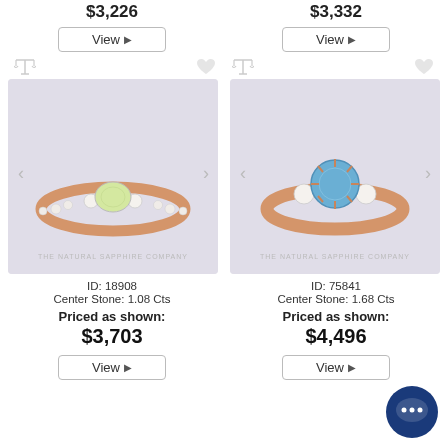$3,226
$3,332
View ▶
View ▶
[Figure (photo): Rose gold engagement ring with oval light green/yellow sapphire center stone and diamond accents on the band. Watermark: THE NATURAL SAPPHIRE COMPANY. ID: 18908, Center Stone: 1.08 Cts. Priced as shown: $3,703.]
[Figure (photo): Rose gold engagement ring with round blue sapphire center stone and two diamond side stones. Watermark: THE NATURAL SAPPHIRE COMPANY. ID: 75841, Center Stone: 1.68 Cts. Priced as shown: $4,496.]
ID: 18908
Center Stone: 1.08 Cts
Priced as shown:
$3,703
ID: 75841
Center Stone: 1.68 Cts
Priced as shown:
$4,496
View ▶
View ▶